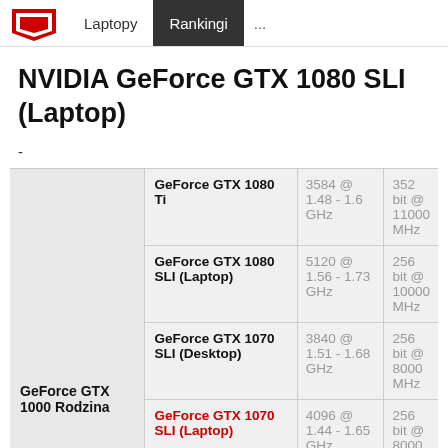Laptopy | Rankingi | ...
NVIDIA GeForce GTX 1080 SLI (Laptop)
-
| GeForce GTX 1000 Rodzina | Model | Shadery @ GHz | Bus |
| --- | --- | --- | --- |
| GeForce GTX 1000 Rodzina | GeForce GTX 1080 Ti | 3584 @ 1.48 - 1.6 GHz | 352 bit @ 11000 MHz |
|  | GeForce GTX 1080 SLI (Laptop) | 5120 @ 1.56 - 1.73 GHz | 256 bit @ 10000 MHz |
|  | GeForce GTX 1070 SLI (Desktop) | 3840 @ 1.51 - 1.68 GHz | 256 bit @ 8000 MHz |
|  | GeForce GTX 1070 SLI (Laptop) | 4096 @ 1.44 - 1.65 GHz | 256 bit @ 8000 MHz |
|  | GeForce GTX 1080 (Desktop) | 2560 @ 1.61 - 1.73 GHz | 256 bit @ 10000 MHz |
|  | GeForce GTX 1080 Mobile | 2560 @ 1.57 - 1.73 GHz | 256 bit @ 10000 MHz |